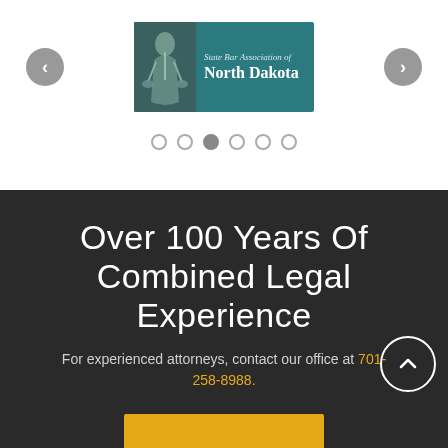[Figure (logo): State Bar Association of North Dakota badge/logo on teal background with figure of justice]
Carousel navigation dots, 3rd dot active
Over 100 Years Of Combined Legal Experience
For experienced attorneys, contact our office at 701-258-8988.